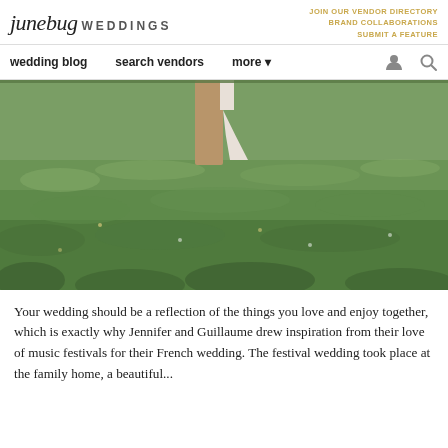junebug WEDDINGS | JOIN OUR VENDOR DIRECTORY BRAND COLLABORATIONS SUBMIT A FEATURE
wedding blog  search vendors  more
[Figure (photo): A couple standing in a green grassy meadow field, lower half of their bodies visible — one wearing tan trousers and the other a white dress.]
Your wedding should be a reflection of the things you love and enjoy together, which is exactly why Jennifer and Guillaume drew inspiration from their love of music festivals for their French wedding. The festival wedding took place at the family home, a beautiful...